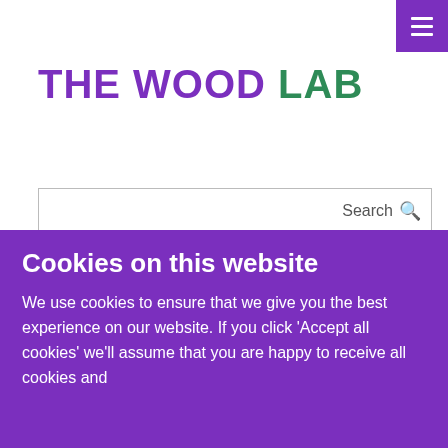THE WOOD LAB
Search
🏠 / Publications
/ Identification of sequences common to more than one therapeutic target to treat complex diseases: simulating the high variance in sequence interactivity evolved to modulate robust phenotypes.
Identification of sequences
Cookies on this website
We use cookies to ensure that we give you the best experience on our website. If you click 'Accept all cookies' we'll assume that you are happy to receive all cookies and